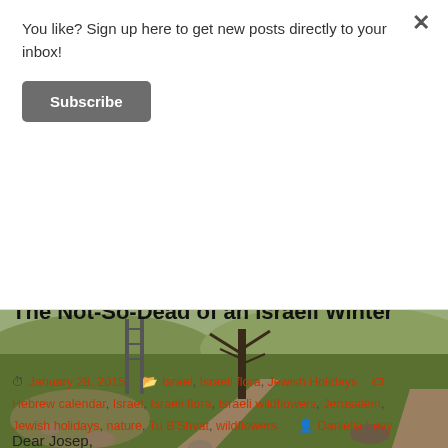You like? Sign up here to get new posts directly to your inbox!
Subscribe
[Figure (photo): Landscape photo of an Israeli hillside in winter with green grass, a bare tree, rocky terrain, metal structures, and a dirt path under an overcast sky.]
The Not-So-Dead of an Israeli Winter
January 28, 2015   Israel, Israeli flora, Jewish Holidays   Hebrew calendar, Israel, Israeli flora, Israeli wildflowers, Jerusalem, Jewish holidays, nature, Tu B'Shvat, wildflowers   Daniella Levy
Dear Josep,